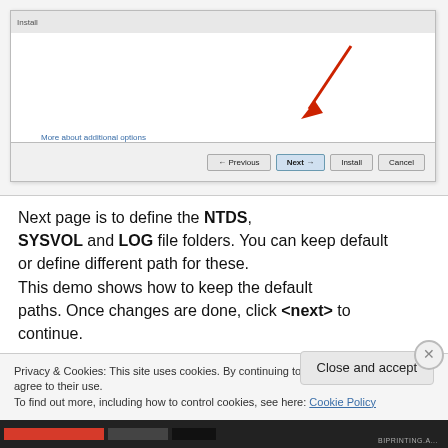[Figure (screenshot): Screenshot of a Windows installation dialog showing Previous, Next, Install, and Cancel buttons. A red arrow points to the Next button. 'More about additional options' link is visible.]
Next page is to define the NTDS, SYSVOL and LOG file folders. You can keep default or define different path for these. This demo shows how to keep the default paths. Once changes are done, click <next> to continue.
Privacy & Cookies: This site uses cookies. By continuing to use this website, you agree to their use.
To find out more, including how to control cookies, see here: Cookie Policy
Close and accept